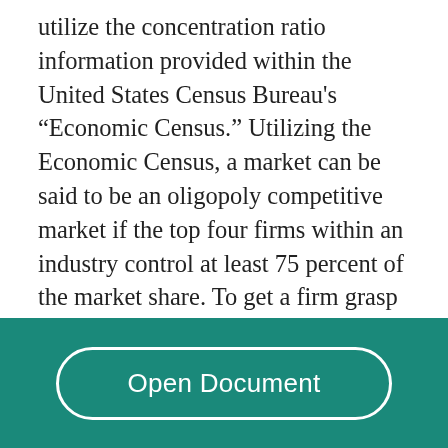utilize the concentration ratio information provided within the United States Census Bureau's "Economic Census." Utilizing the Economic Census, a market can be said to be an oligopoly competitive market if the top four firms within an industry control at least 75 percent of the market share. To get a firm grasp on how this theory works I will study the concentration ratios of the four industries: fluid milk (311511), women's and girl's cut &amp; sew dresses (315233), envelopes (322232), and electronic computers (334111), to determine whether their competitive markets would
Open Document